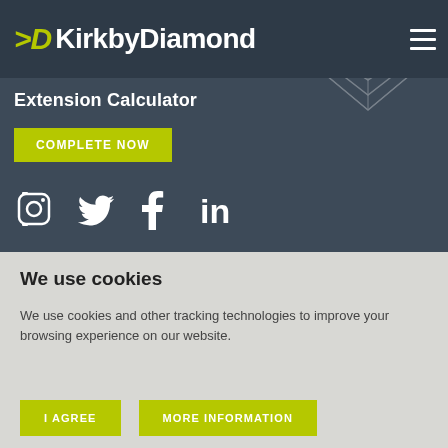KirkbyDiamond
Extension Calculator
COMPLETE NOW
[Figure (other): Social media icons: Instagram, Twitter, Facebook, LinkedIn]
We use cookies
We use cookies and other tracking technologies to improve your browsing experience on our website.
I AGREE   MORE INFORMATION